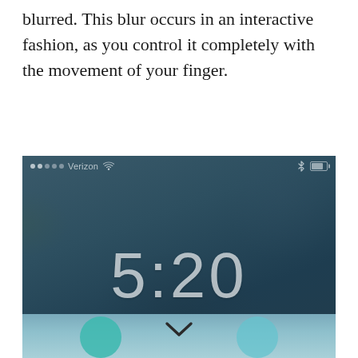blurred. This blur occurs in an interactive fashion, as you control it completely with the movement of your finger.
[Figure (screenshot): iPhone lock screen screenshot showing time 5:20, Verizon carrier with WiFi signal, Bluetooth icon and battery indicator in status bar, dark blurred blue-green wallpaper background, and a notification/control center pull-up area at the bottom with circular icons.]